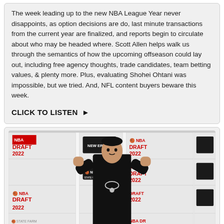The week leading up to the new NBA League Year never disappoints, as option decisions are do, last minute transactions from the current year are finalized, and reports begin to circulate about who may be headed where. Scott Allen helps walk us through the semantics of how the upcoming offseason could lay out, including free agency thoughts, trade candidates, team betting values, & plenty more. Plus, evaluating Shohei Ohtani was impossible, but we tried. And, NFL content buyers beware this week.
CLICK TO LISTEN ▶
[Figure (photo): A young man in a black outfit posing with fists raised in front of an NBA Draft 2022 step-and-repeat backdrop featuring NBA and New Era logos]